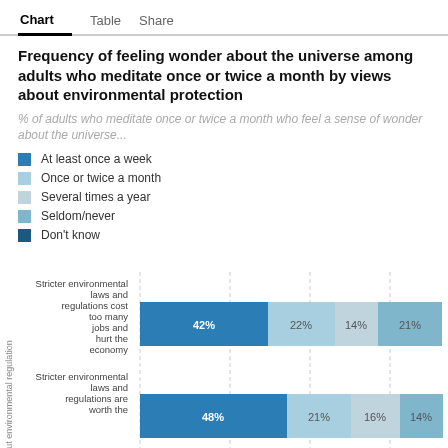Chart | Table | Share
Frequency of feeling wonder about the universe among adults who meditate once or twice a month by views about environmental protection
% of adults who meditate once or twice a month who feel a sense of wonder about the universe...
At least once a week
Once or twice a month
Several times a year
Seldom/never
Don't know
[Figure (stacked-bar-chart): Frequency of feeling wonder about the universe among adults who meditate once or twice a month by views about environmental protection]